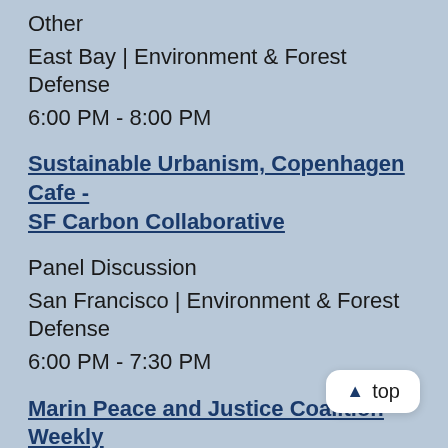Other
East Bay | Environment & Forest Defense
6:00 PM - 8:00 PM
Sustainable Urbanism, Copenhagen Cafe - SF Carbon Collaborative
Panel Discussion
San Francisco | Environment & Forest Defense
6:00 PM - 7:30 PM
Marin Peace and Justice Coalition Weekly Meet
Meeting
North Bay / Marin | Global Justice & Anti-